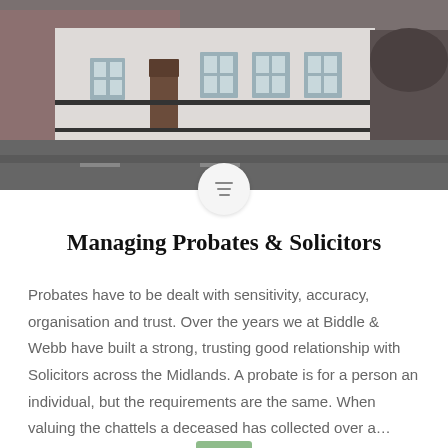[Figure (photo): Street-level photo of a white-and-brick building facade with barred windows and an arched entrance, viewed from across the road.]
Managing Probates & Solicitors
Probates have to be dealt with sensitivity, accuracy, organisation and trust. Over the years we at Biddle & Webb have built a strong, trusting good relationship with Solicitors across the Midlands. A probate is for a person an individual, but the requirements are the same. When valuing the chattels a deceased has collected over a…